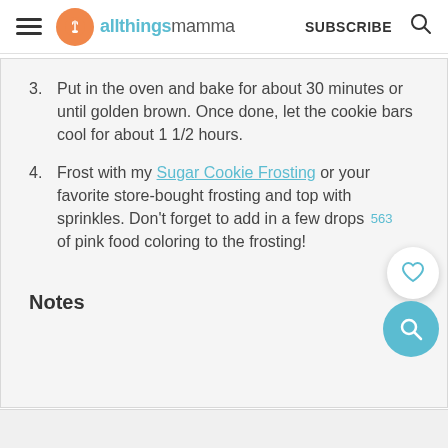allthingsmamma  SUBSCRIBE
3. Put in the oven and bake for about 30 minutes or until golden brown. Once done, let the cookie bars cool for about 1 1/2 hours.
4. Frost with my Sugar Cookie Frosting or your favorite store-bought frosting and top with sprinkles. Don't forget to add in a few drops of pink food coloring to the frosting! 563
Notes